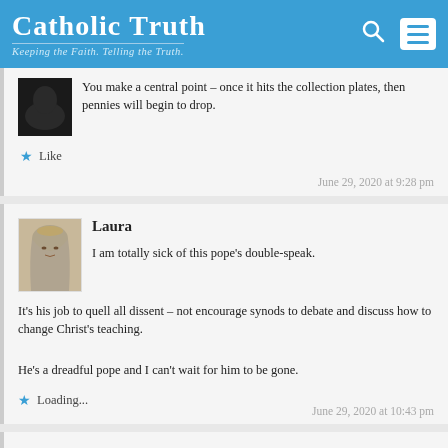Catholic Truth – Keeping the Faith. Telling the Truth.
You make a central point – once it hits the collection plates, then pennies will begin to drop.
Like
June 29, 2020 at 9:28 pm
Laura
I am totally sick of this pope's double-speak.
It's his job to quell all dissent – not encourage synods to debate and discuss how to change Christ's teaching.
He's a dreadful pope and I can't wait for him to be gone.
Loading...
June 29, 2020 at 10:43 pm